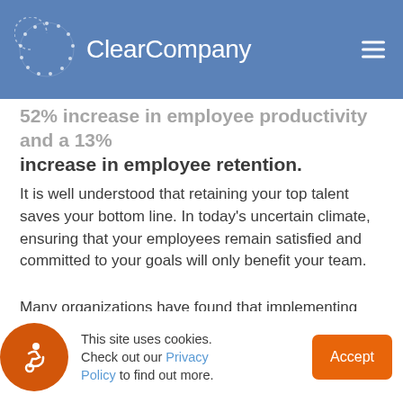ClearCompany
52% increase in employee productivity and a 13% increase in employee retention.
It is well understood that retaining your top talent saves your bottom line. In today’s uncertain climate, ensuring that your employees remain satisfied and committed to your goals will only benefit your team.
Many organizations have found that implementing HR Tech tools to support payroll can dramatically reduce employee turnover. This means that your HR
This site uses cookies. Check out our Privacy Policy to find out more.